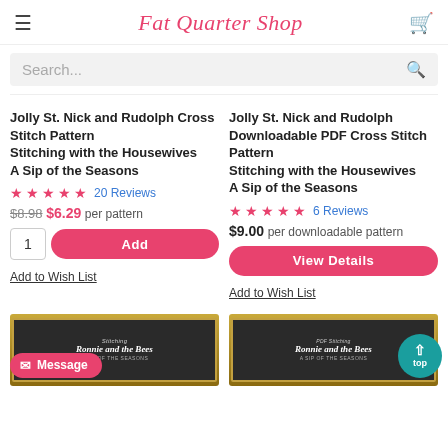Fat Quarter Shop
Search...
Jolly St. Nick and Rudolph Cross Stitch Pattern
Stitching with the Housewives
A Sip of the Seasons
★★★★★ 20 Reviews
$8.98  $6.29 per pattern
1  Add
Add to Wish List
Jolly St. Nick and Rudolph Downloadable PDF Cross Stitch Pattern
Stitching with the Housewives
A Sip of the Seasons
★★★★★ 6 Reviews
$9.00 per downloadable pattern
View Details
Add to Wish List
[Figure (photo): Ronnie and the Bees cross stitch pattern product image with chalkboard style label]
[Figure (photo): Ronnie and the Bees downloadable PDF cross stitch pattern product image]
Message